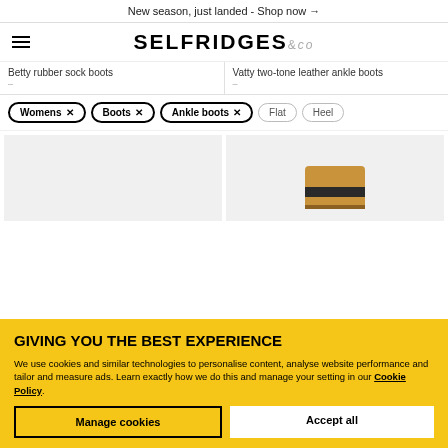New season, just landed - Shop now →
[Figure (logo): Selfridges & Co logo with hamburger menu icon]
Betty rubber sock boots
Vatty two-tone leather ankle boots
Womens × | Boots × | Ankle boots × | Flat | Heel
[Figure (photo): Two product thumbnail images: left is blank grey, right shows a tan/brown ankle boot]
GIVING YOU THE BEST EXPERIENCE
We use cookies and similar technologies to personalise content, analyse website performance and tailor and measure ads. Learn exactly how we do this and manage your setting in our Cookie Policy.
Manage cookies
Accept all